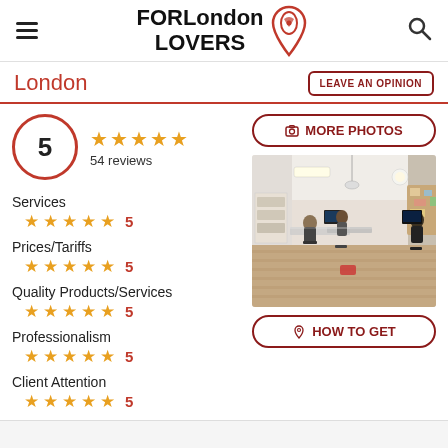FOR London LOVERS [logo]
London
LEAVE AN OPINION
5 — 54 reviews
MORE PHOTOS
Services ★★★★★ 5
Prices/Tariffs ★★★★★ 5
Quality Products/Services ★★★★★ 5
Professionalism ★★★★★ 5
Client Attention ★★★★★ 5
[Figure (photo): 360-degree interior photo of an office/co-working space with people working at desks, wood floor, white ceiling]
HOW TO GET